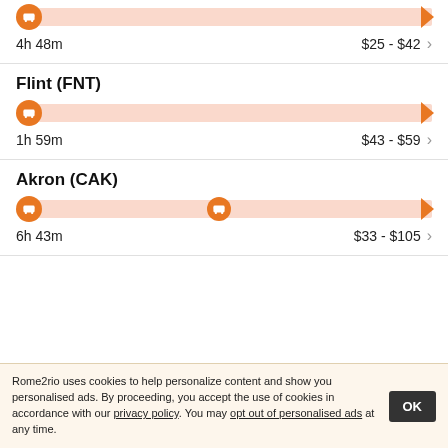[Figure (infographic): Partial route card at top: bus icon with route bar ending in triangle destination, 4h 48m duration, $25 - $42 price with arrow]
4h 48m
$25 - $42
Flint (FNT)
[Figure (infographic): Route bar for Flint: bus icon with shorter route bar ending in triangle at about 40% width]
1h 59m
$43 - $59
Akron (CAK)
[Figure (infographic): Route bar for Akron: bus icon, midpoint bus icon, full-width bar ending in triangle]
6h 43m
$33 - $105
Rome2rio uses cookies to help personalize content and show you personalised ads. By proceeding, you accept the use of cookies in accordance with our privacy policy. You may opt out of personalised ads at any time.